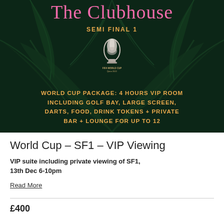[Figure (illustration): Dark tropical palm leaf background with 'The Clubhouse' in pink cursive script at top, 'SEMI FINAL 1' in orange text, FIFA World Cup Qatar 2022 logo, and orange bold text describing a World Cup VIP package]
World Cup – SF1 – VIP Viewing
VIP suite including private viewing of SF1, 13th Dec 6-10pm
Read More
£400